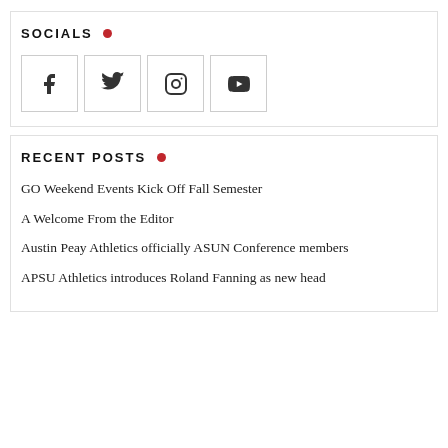SOCIALS
[Figure (infographic): Row of four social media icon boxes: Facebook (f), Twitter (bird), Instagram (camera), YouTube (play button)]
RECENT POSTS
GO Weekend Events Kick Off Fall Semester
A Welcome From the Editor
Austin Peay Athletics officially ASUN Conference members
APSU Athletics introduces Roland Fanning as new head